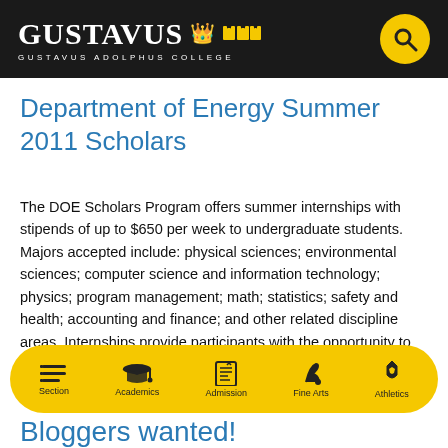GUSTAVUS ADOLPHUS COLLEGE
Department of Energy Summer 2011 Scholars
The DOE Scholars Program offers summer internships with stipends of up to $650 per week to undergraduate students. Majors accepted include: physical sciences; environmental sciences; computer science and information technology; physics; program management; math; statistics; safety and health; accounting and finance; and other related discipline areas. Internships provide participants with the opportunity to conduct hands-on [...]
Bloggers wanted!